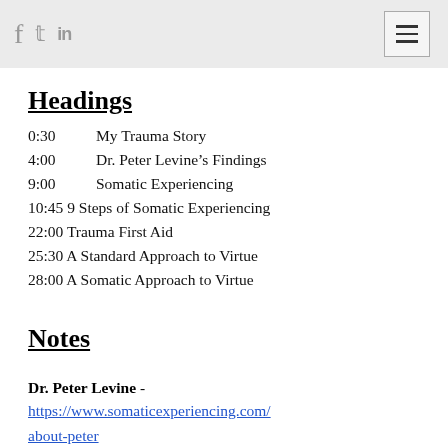f  🐦  in  [hamburger menu]
Headings
0:30   My Trauma Story
4:00   Dr. Peter Levine's Findings
9:00   Somatic Experiencing
10:45 9 Steps of Somatic Experiencing
22:00 Trauma First Aid
25:30 A Standard Approach to Virtue
28:00 A Somatic Approach to Virtue
Notes
Dr. Peter Levine - https://www.somaticexperiencing.com/about-peter
Somatic Experiencing -